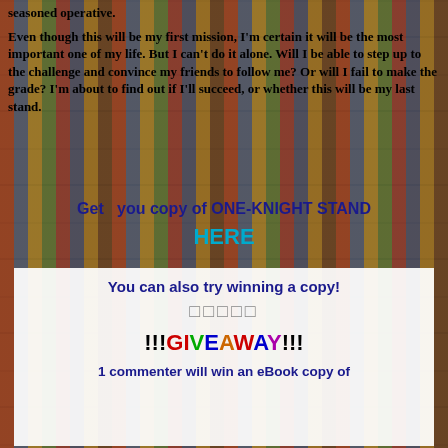seasoned operative.
Even though this will be my first mission, I'm certain it will be the most important one of my life. But I can't do it alone. Will I be able to step up to the challenge and convince my friends to follow me? Or will I fail to make the grade? I'm about to find out if I'll succeed, or whether this will be my last stand.
Get  you copy of ONE-KNIGHT STAND
HERE
You can also try winning a copy!
□□□□□
!!!GIVEAWAY!!!
1 commenter will win an eBook copy of